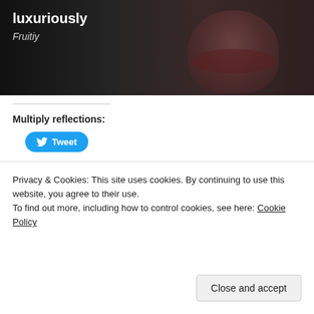[Figure (photo): Dark hero image showing a woman's face with bold text overlay. Title text partially visible reading '...luxuriously' and subtitle 'Fruitiy']
luxuriously
Fruitiy
Multiply reflections:
[Figure (other): Twitter Tweet button with bird logo]
Loading...
Related
[Figure (photo): Two related article thumbnail images side by side]
Privacy & Cookies: This site uses cookies. By continuing to use this website, you agree to their use.
To find out more, including how to control cookies, see here: Cookie Policy
Close and accept